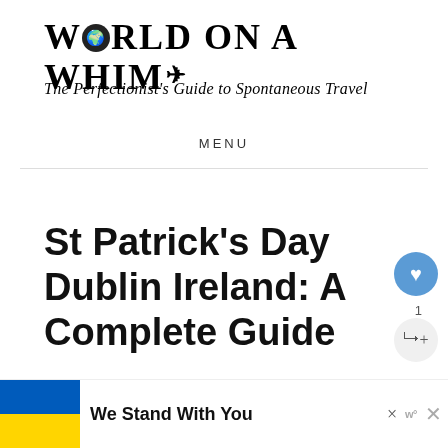WORLD ON A WHIM
The Perfectionist's Guide to Spontaneous Travel
MENU
St Patrick's Day Dublin Ireland: A Complete Guide
We Stand With You